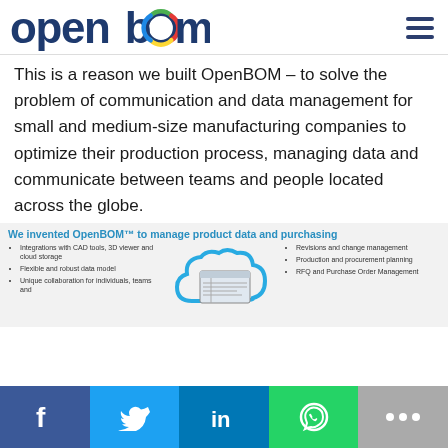OpenBOM logo and navigation
This is a reason we built OpenBOM – to solve the problem of communication and data management for small and medium-size manufacturing companies to optimize their production process, managing data and communicate between teams and people located across the globe.
We invented OpenBOM™ to manage product data and purchasing
[Figure (infographic): Cloud graphic with a screenshot inside showing OpenBOM interface, surrounded by bullet point features on left and right.]
Integrations with CAD tools, 3D viewer and cloud storage
Flexible and robust data model
Unique collaboration for individuals, teams and
Revisions and change management
Production and procurement planning
RFQ and Purchase Order Management
Social media links: Facebook, Twitter, LinkedIn, WhatsApp, More